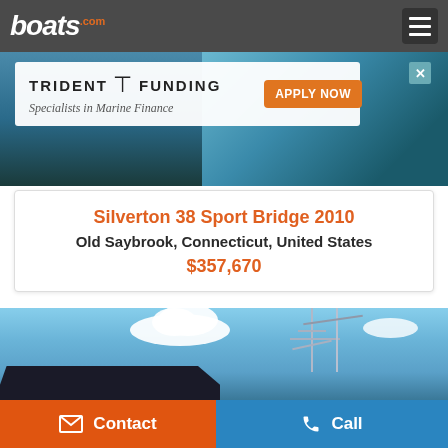boats.com
[Figure (screenshot): Trident Funding advertisement banner — Specialists in Marine Finance, APPLY NOW button, with boat image in background]
Silverton 38 Sport Bridge 2010
Old Saybrook, Connecticut, United States
$357,670
[Figure (photo): Photo of a sport fishing boat against blue sky with clouds, showing mast and rigging structure]
Contact
Call